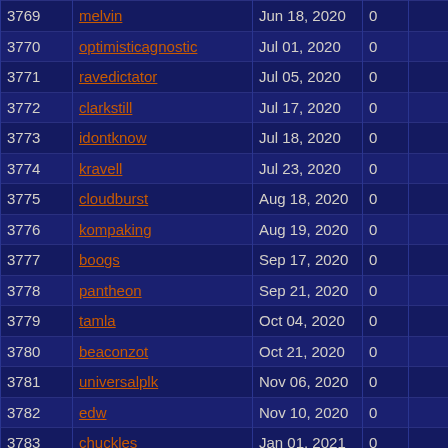| # | Username |  | Date | Count |  |  |
| --- | --- | --- | --- | --- | --- | --- |
| 3769 | melvin |  | Jun 18, 2020 | 0 |  |  |
| 3770 | optimisticagnostic |  | Jul 01, 2020 | 0 |  |  |
| 3771 | ravedictator |  | Jul 05, 2020 | 0 |  |  |
| 3772 | clarkstill |  | Jul 17, 2020 | 0 |  |  |
| 3773 | idontknow |  | Jul 18, 2020 | 0 |  |  |
| 3774 | kravell |  | Jul 23, 2020 | 0 |  |  |
| 3775 | cloudburst |  | Aug 18, 2020 | 0 |  |  |
| 3776 | kompaking |  | Aug 19, 2020 | 0 |  |  |
| 3777 | boogs |  | Sep 17, 2020 | 0 |  |  |
| 3778 | pantheon |  | Sep 21, 2020 | 0 |  |  |
| 3779 | tamla |  | Oct 04, 2020 | 0 |  |  |
| 3780 | beaconzot |  | Oct 21, 2020 | 0 |  |  |
| 3781 | universalplk |  | Nov 06, 2020 | 0 |  |  |
| 3782 | edw |  | Nov 10, 2020 | 0 |  |  |
| 3783 | chuckles |  | Jan 01, 2021 | 0 |  |  |